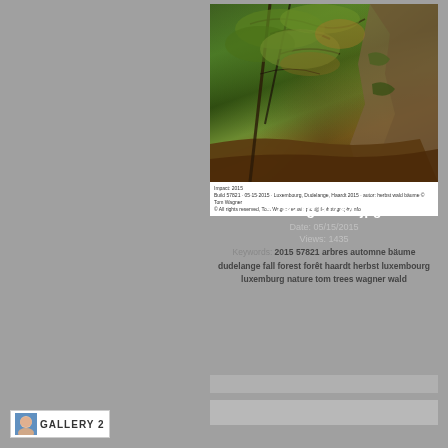[Figure (photo): Forest scene with autumn trees, mossy rocks, and fallen leaves in Luxembourg Dudelange Haardt]
57821g10784.jpg
Date: 05/15/2015
Views: 1435
Keywords: 2015 57821 arbres automne bäume dudelange fall forest forêt haardt herbst luxembourg luxemburg nature tom trees wagner wald
[Figure (logo): Gallery 2 logo with face icon]